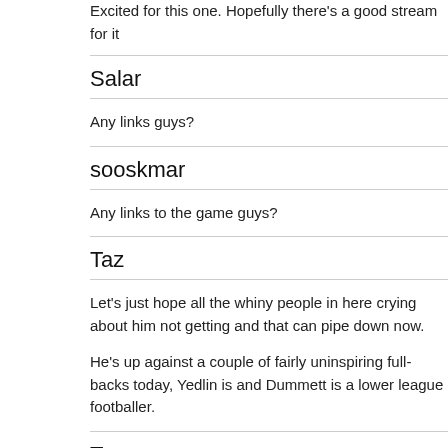Excited for this one. Hopefully there's a good stream for it
Salar
Any links guys?
sooskmar
Any links to the game guys?
Taz
Let's just hope all the whiny people in here crying about him not getting and that can pipe down now.

He's up against a couple of fairly uninspiring full-backs today, Yedlin is and Dummett is a lower league footballer.
Taz
Reliable link:
More volatile links: